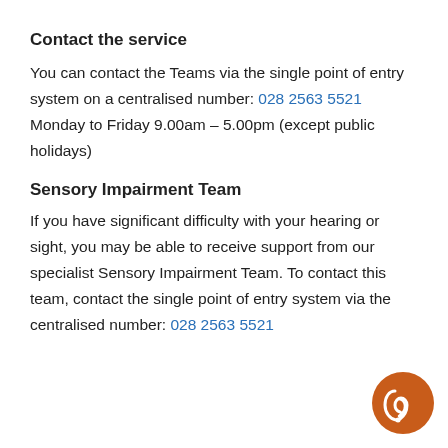Contact the service
You can contact the Teams via the single point of entry system on a centralised number: 028 2563 5521
Monday to Friday 9.00am – 5.00pm (except public holidays)
Sensory Impairment Team
If you have significant difficulty with your hearing or sight, you may be able to receive support from our specialist Sensory Impairment Team. To contact this team, contact the single point of entry system via the centralised number: 028 2563 5521
[Figure (illustration): Orange circular icon with a white ear/hearing loop symbol]